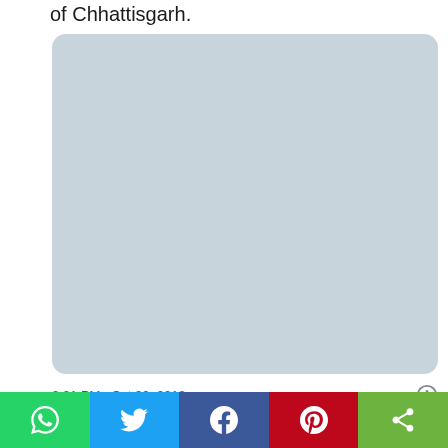of Chhattisgarh.
[Figure (photo): Large image placeholder with light blue-grey background and rounded corners]
2:21 PM · Oct 22, 2018
Social share bar with WhatsApp, Twitter, Facebook, Pinterest, and share icons